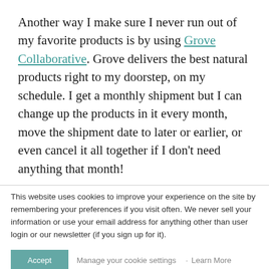Another way I make sure I never run out of my favorite products is by using Grove Collaborative. Grove delivers the best natural products right to my doorstep, on my schedule. I get a monthly shipment but I can change up the products in it every month, move the shipment date to later or earlier, or even cancel it all together if I don't need anything that month!
This website uses cookies to improve your experience on the site by remembering your preferences if you visit often. We never sell your information or use your email address for anything other than user login or our newsletter (if you sign up for it).
Accept | Manage your cookie settings · Learn More